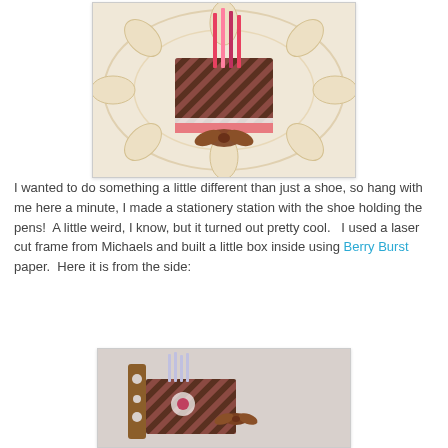[Figure (photo): A crafted stationery station made from a shoe shape, holding pens, decorated with pink and brown patterned paper, placed on a decorative laser-cut frame on a lace doily background.]
I wanted to do something a little different than just a shoe, so hang with me here a minute, I made a stationery station with the shoe holding the pens!  A little weird, I know, but it turned out pretty cool.   I used a laser cut frame from Michaels and built a little box inside using Berry Burst paper.  Here it is from the side:
[Figure (photo): Side view of the stationery station showing the laser-cut decorative frame with pink and brown patterned paper box holding pens inside, viewed from the side.]